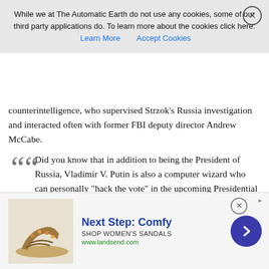counterintelligence, who supervised Strzok's Russia investigation and interacted often with former FBI deputy director Andrew McCabe.
Did you know that in addition to being the President of Russia, Vladimir V. Putin is also a computer wizard who can personally "hack the vote" in the upcoming Presidential Election? That's what I'm learning in the @nytimes: https://t.co/iSqVMWIhG1 pic.twitter.com/DiMKTHMsmj
— Aaron Maté (@aaronjmate) June 8, 2020
The NYT literally fired their editorial page editor because he dared publish an op-ed that Leftists disagreed with.
The totalitarian Left will brook no dissent. To hell with Free
[Figure (infographic): Cookie consent banner overlay with text, Learn More and Accept Cookies links, and close button]
[Figure (infographic): Advertisement banner for Next Step: Comfy sandals from landsend.com with sandal image, text, close button, and arrow button]